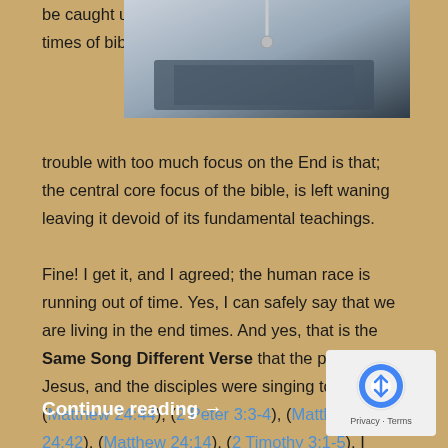be caught up in the whole end times of bible prophecy. The trouble with too much focus on the End is that; the central core focus of the bible, is left waning leaving it devoid of its fundamental teachings.
[Figure (photo): A blurry/out-of-focus image appearing to show a Bible or book on a dark surface with some kind of IV or tube overhead]
Fine! I get it, and I agreed; the human race is running out of time. Yes, I can safely say that we are living in the end times. And yes, that is the Same Song Different Verse that the prophets, Jesus, and the disciples were singing too! (Matthew 24:44), (2 Peter 3:3-4), (Matthew 24:42), (Matthew 24:14), (2 Timothy 3:1-5), I could go on and on, et cetera et cetera.
Continue reading →
[Figure (logo): reCAPTCHA logo with Privacy and Terms text]